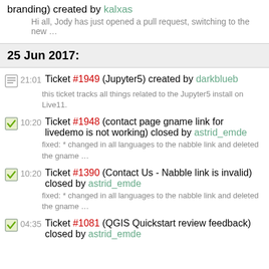branding) created by kalxas
Hi all, Jody has just opened a pull request, switching to the new …
25 Jun 2017:
21:01 Ticket #1949 (Jupyter5) created by darkblueb — this ticket tracks all things related to the Jupyter5 install on Live11.
10:20 Ticket #1948 (contact page gname link for livedemo is not working) closed by astrid_emde — fixed: * changed in all languages to the nabble link and deleted the gname …
10:20 Ticket #1390 (Contact Us - Nabble link is invalid) closed by astrid_emde — fixed: * changed in all languages to the nabble link and deleted the gname …
04:35 Ticket #1081 (QGIS Quickstart review feedback) closed by astrid_emde